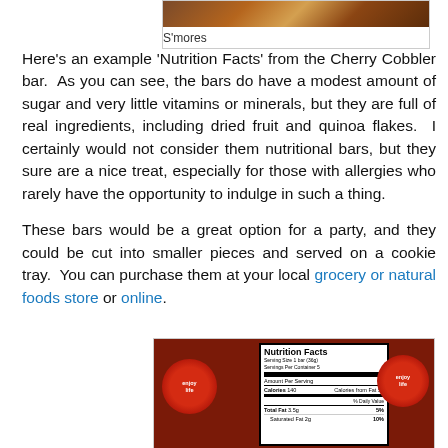[Figure (photo): Top portion of a photo of S'mores product, partially cropped at top of page]
S'mores
Here's an example 'Nutrition Facts' from the Cherry Cobbler bar.  As you can see, the bars do have a modest amount of sugar and very little vitamins or minerals, but they are full of real ingredients, including dried fruit and quinoa flakes.  I certainly would not consider them nutritional bars, but they sure are a nice treat, especially for those with allergies who rarely have the opportunity to indulge in such a thing.
These bars would be a great option for a party, and they could be cut into smaller pieces and served on a cookie tray.  You can purchase them at your local grocery or natural foods store or online.
[Figure (photo): Photo of Enjoy Life Cherry Cobbler bar packaging showing Nutrition Facts panel: Serving Size 1 bar (36g), Servings Per Container 5, Calories 140, Calories from Fat 50, Total Fat 3.5g 5%, Saturated Fat 2g 10%]